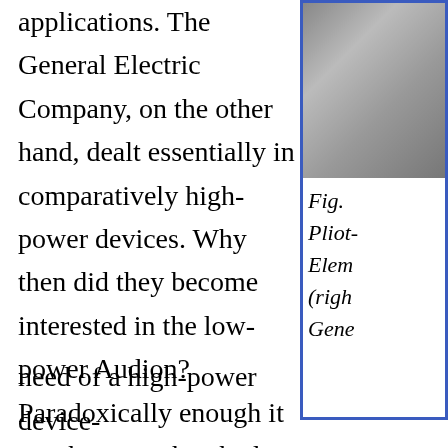applications. The General Electric Company, on the other hand, dealt essentially in comparatively high-power devices. Why then did they become interested in the low-power Audion? Paradoxically enough it was because they had need of a high-power device-
[Figure (photo): Partial photograph visible in upper right, appears to show a person or equipment, partially cropped]
Fig. Pliot- Elem (right Gene